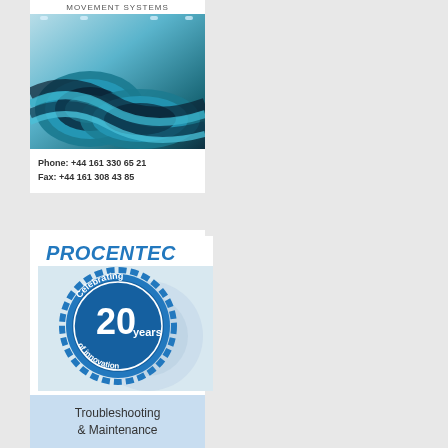MOVEMENT SYSTEMS
[Figure (photo): Blue conveyor belts or industrial tubing coiled up in a warehouse setting]
Phone: +44 161 330 65 21
Fax: +44 161 308 43 85
[Figure (logo): PROCENTEC logo with '20 years of innovation - Celebrating' badge seal in blue]
Troubleshooting & Maintenance